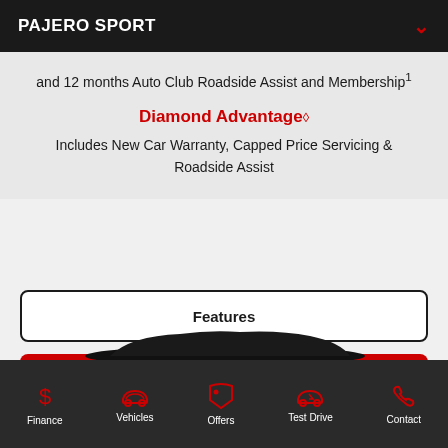PAJERO SPORT
and 12 months Auto Club Roadside Assist and Membership¹
Diamond Advantage◇
Includes New Car Warranty, Capped Price Servicing & Roadside Assist
Features
View offer details
Disclaimer
Finance  Vehicles  Offers  Test Drive  Contact